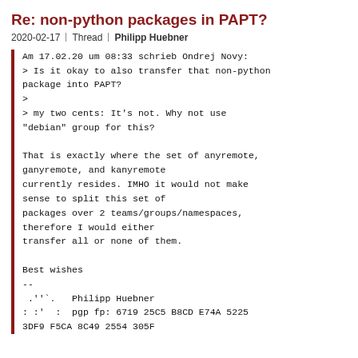Re: non-python packages in PAPT?
2020-02-17 | Thread | Philipp Huebner
Am 17.02.20 um 08:33 schrieb Ondrej Novy:
> Is it okay to also transfer that non-python package into PAPT?
>
> my two cents: It's not. Why not use "debian" group for this?

That is exactly where the set of anyremote, ganyremote, and kanyremote currently resides. IMHO it would not make sense to split this set of packages over 2 teams/groups/namespaces, therefore I would either transfer all or none of them.

Best wishes
--
 .''`.   Philipp Huebner
: :'  :  pgp fp: 6719 25C5 B8CD E74A 5225
3DF9 F5CA 8C49 2554 305F